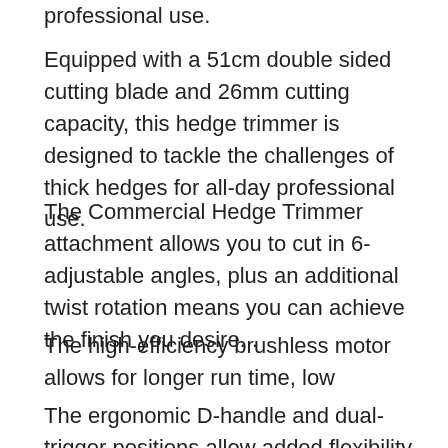professional use.
Equipped with a 51cm double sided cutting blade and 26mm cutting capacity, this hedge trimmer is designed to tackle the challenges of thick hedges for all-day professional use.
The Commercial Hedge Trimmer attachment allows you to cut in 6-adjustable angles, plus an additional twist rotation means you can achieve the finish you desire. .
The high-efficiency brushless motor allows for longer run time, low vibrations and extended tool life.
The ergonomic D-handle and dual-trigger positions allow added flexibility for operational use from